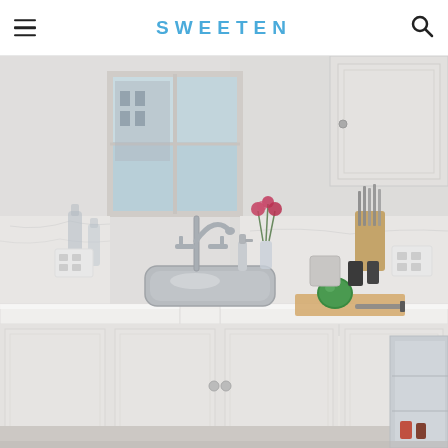SWEETEN
[Figure (photo): A bright white kitchen with a corner undermount stainless steel sink, bridge faucet, white quartz countertops, white shaker cabinets, marble tile backsplash, a window letting in natural light, a cutting board with a green pepper on the right counter, a knife block in the background, and flowers in a vase near the window.]